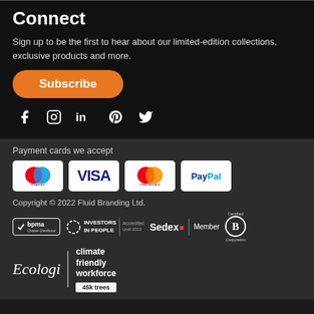Connect
Sign up to be the first to hear about our limited-edition collections, exclusive products and more.
[Figure (other): Orange Subscribe button with rounded corners]
[Figure (other): Social media icons: Facebook, Instagram, LinkedIn, Pinterest, Twitter]
Payment cards we accept
[Figure (other): Payment card logos: Maestro, Visa, Mastercard, PayPal]
Copyright © 2022 Fluid Branding Ltd.
[Figure (other): Badge logos: bpma Charter Distributor, Investors in People Accredited Until 2022, Sedex Member, Certified B Corporation]
[Figure (other): Ecologi climate friendly workforce 45k trees badge]